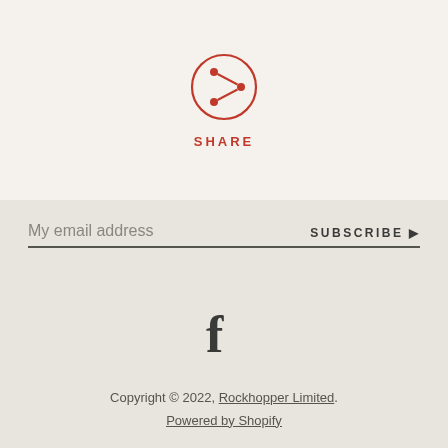[Figure (illustration): A red outlined circle containing a share/network icon (three connected dots with lines) in red]
SHARE
My email address
SUBSCRIBE ▶
[Figure (illustration): Facebook lowercase f icon in dark gray]
Copyright © 2022, Rockhopper Limited.
Powered by Shopify